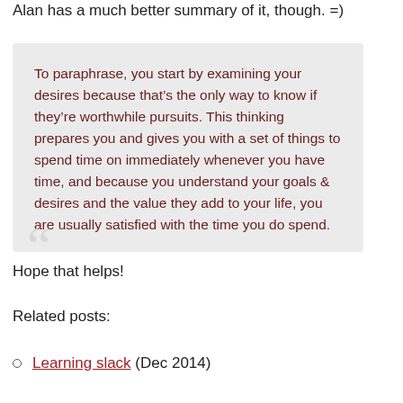Alan has a much better summary of it, though. =)
To paraphrase, you start by examining your desires because that’s the only way to know if they’re worthwhile pursuits. This thinking prepares you and gives you with a set of things to spend time on immediately whenever you have time, and because you understand your goals & desires and the value they add to your life, you are usually satisfied with the time you do spend.
Hope that helps!
Related posts:
Learning slack (Dec 2014)